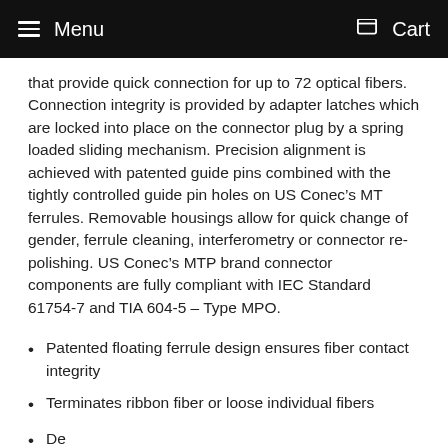Menu  Cart
that provide quick connection for up to 72 optical fibers. Connection integrity is provided by adapter latches which are locked into place on the connector plug by a spring loaded sliding mechanism. Precision alignment is achieved with patented guide pins combined with the tightly controlled guide pin holes on US Conec’s MT ferrules. Removable housings allow for quick change of gender, ferrule cleaning, interferometry or connector re-polishing. US Conec’s MTP brand connector components are fully compliant with IEC Standard 61754-7 and TIA 604-5 – Type MPO.
Patented floating ferrule design ensures fiber contact integrity
Terminates ribbon fiber or loose individual fibers
Designed for insertion and extraction from 12 to MM